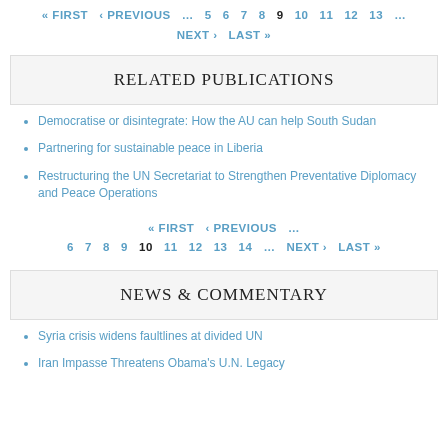« FIRST ‹ PREVIOUS … 5 6 7 8 9 10 11 12 13 … NEXT › LAST »
RELATED PUBLICATIONS
Democratise or disintegrate: How the AU can help South Sudan
Partnering for sustainable peace in Liberia
Restructuring the UN Secretariat to Strengthen Preventative Diplomacy and Peace Operations
« FIRST ‹ PREVIOUS … 6 7 8 9 10 11 12 13 14 … NEXT › LAST »
NEWS & COMMENTARY
Syria crisis widens faultlines at divided UN
Iran Impasse Threatens Obama's U.N. Legacy